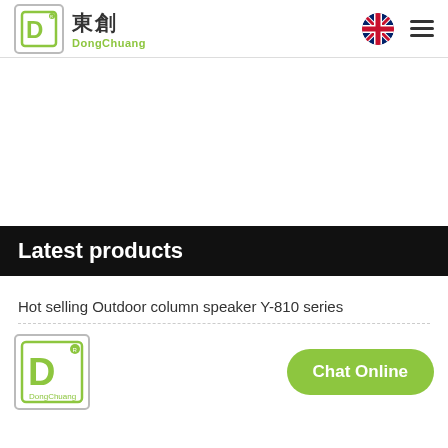DongChuang 東創 — navigation header with UK flag and hamburger menu
Latest products
Hot selling Outdoor column speaker Y-810 series
[Figure (logo): DongChuang logo — green D icon in box with Chinese characters]
Chat Online